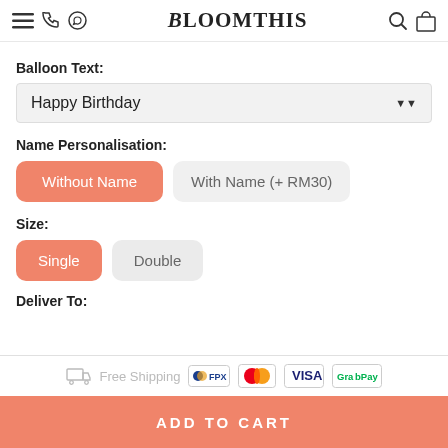BloomThis — navigation header with menu, phone, WhatsApp, search, and cart icons
Balloon Text:
Happy Birthday
Name Personalisation:
Without Name
With Name (+ RM30)
Size:
Single
Double
Deliver To:
Free Shipping | FPX | Mastercard | VISA | GrabPay | ADD TO CART